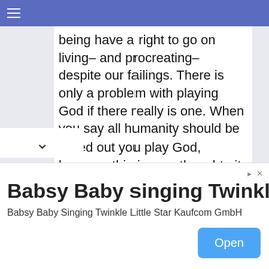≡
being have a right to go on living– and procreating– despite our failings. There is only a problem with playing God if there really is one. When you say all humanity should be wiped out you play God, because this is your thought– it isn't God's. Human evil is real, but God's forgiving love is also real. If there really could be one without the other humanity would have wiped itself out a long time ago
Babsy Baby singing Twinkle
Babsy Baby Singing Twinkle Little Star Kaufcom GmbH
Open